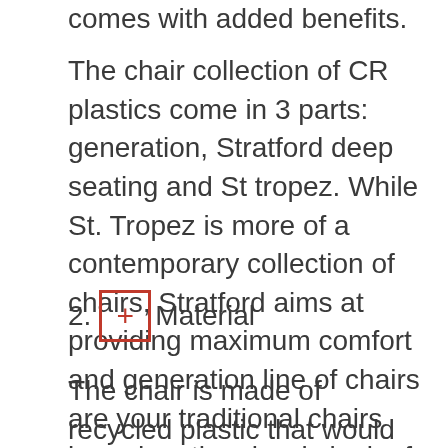comes with added benefits.
The chair collection of CR plastics come in 3 parts: generation, Stratford deep seating and St tropez. While St. Tropez is more of a contemporary collection of chairs, Stratford aims at providing maximum comfort and generation line of chairs are your traditional chairs based on the classic look of Adirondack chairs.
2. Material
The chair is made of recycled plastic that would otherwise be disposed in landfills creating unnecessary waste. Thus if you are an environment conscious person and want to be a bit